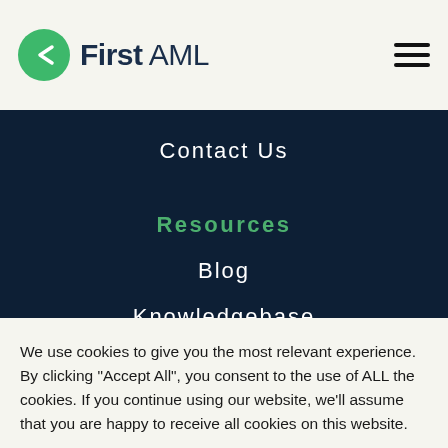First AML
Contact Us
Resources
Blog
Knowledgebase
We use cookies to give you the most relevant experience. By clicking "Accept All", you consent to the use of ALL the cookies. If you continue using our website, we'll assume that you are happy to receive all cookies on this website.
Accept All